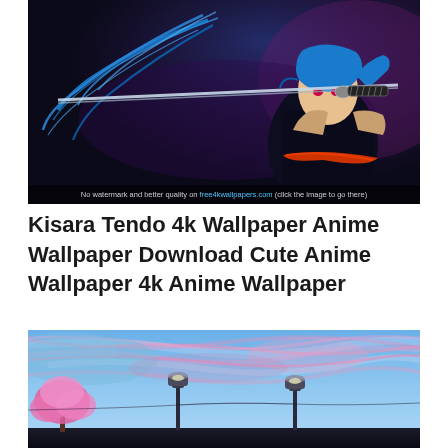[Figure (illustration): Anime character Kisara Tendo with blue hair holding a katana sword, wearing dark outfit with red sash, on dark purple/blue background. Watermark at bottom: 'No watermark and better quality on free4kwallpapers.com (click the image to go there)']
Kisara Tendo 4k Wallpaper Anime Wallpaper Download Cute Anime Wallpaper 4k Anime Wallpaper
[Figure (illustration): Anime landscape with pink cherry blossom tree on left, two street lamps, dramatic sky with blue and pink clouds streaking across]